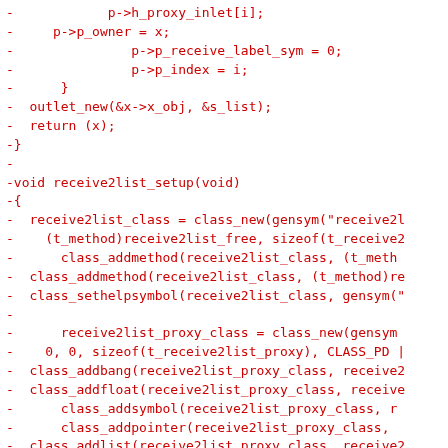Diff output showing removed lines from receive2list and round_zero.c git diff